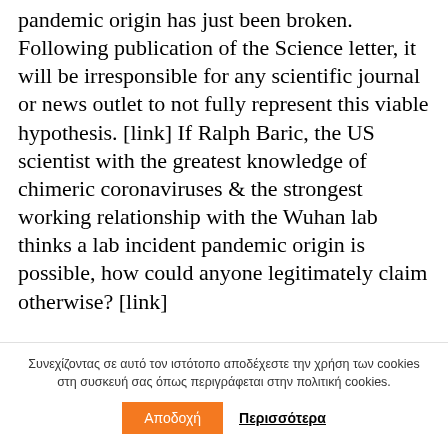pandemic origin has just been broken. Following publication of the Science letter, it will be irresponsible for any scientific journal or news outlet to not fully represent this viable hypothesis. [link] If Ralph Baric, the US scientist with the greatest knowledge of chimeric coronaviruses & the strongest working relationship with the Wuhan lab thinks a lab incident pandemic origin is possible, how could anyone legitimately claim otherwise? [link]
Συνεχίζοντας σε αυτό τον ιστότοπο αποδέχεστε την χρήση των cookies στη συσκευή σας όπως περιγράφεται στην πολιτική cookies.
Αποδοχή  Περισσότερα